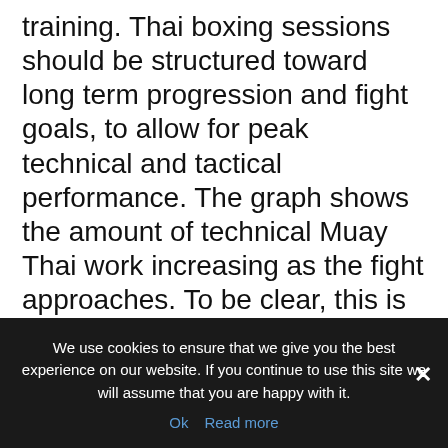training. Thai boxing sessions should be structured toward long term progression and fight goals, to allow for peak technical and tactical performance. The graph shows the amount of technical Muay Thai work increasing as the fight approaches. To be clear, this is not the total amount of Muay Thai training, just the amount of technical work included. Periodisation builds generic, foundation qualities before converting them into specialised, killer performance in the ring.
We use cookies to ensure that we give you the best experience on our website. If you continue to use this site we will assume that you are happy with it.